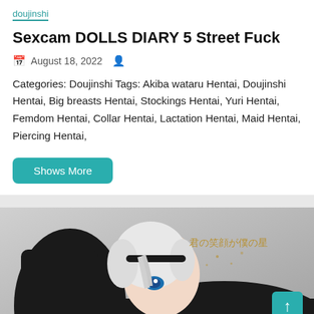doujinshi
Sexcam DOLLS DIARY 5 Street Fuck
August 18, 2022
Categories: Doujinshi Tags: Akiba wataru Hentai, Doujinshi Hentai, Big breasts Hentai, Stockings Hentai, Yuri Hentai, Femdom Hentai, Collar Hentai, Lactation Hentai, Maid Hentai, Piercing Hentai,
Shows More
[Figure (illustration): Anime/manga style illustration of a character with white hair and blue eyes wearing black clothing, with Japanese text overlay reading 君の笑顔が僕の星]